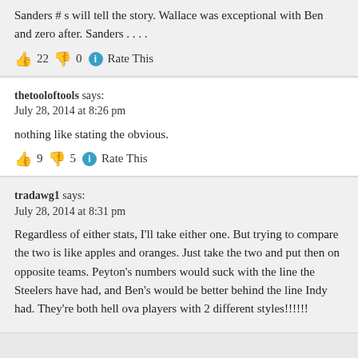Sanders # s will tell the story. Wallace was exceptional with Ben and zero after. Sanders . . . .
👍 22 👎 0 ℹ Rate This
thetooloftools says:
July 28, 2014 at 8:26 pm
nothing like stating the obvious.
👍 9 👎 5 ℹ Rate This
tradawg1 says:
July 28, 2014 at 8:31 pm
Regardless of either stats, I'll take either one. But trying to compare the two is like apples and oranges. Just take the two and put then on opposite teams. Peyton's numbers would suck with the line the Steelers have had, and Ben's would be better behind the line Indy had. They're both hell ova players with 2 different styles!!!!!!